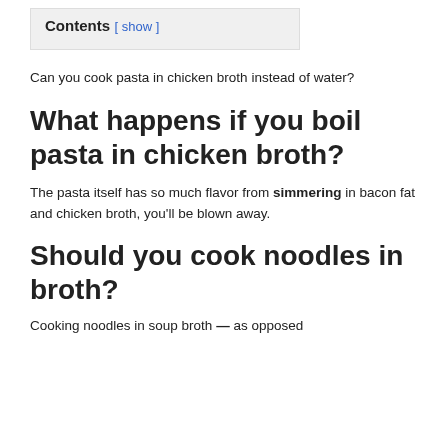Contents [ show ]
Can you cook pasta in chicken broth instead of water?
What happens if you boil pasta in chicken broth?
The pasta itself has so much flavor from simmering in bacon fat and chicken broth, you'll be blown away.
Should you cook noodles in broth?
Cooking noodles in soup broth — as opposed